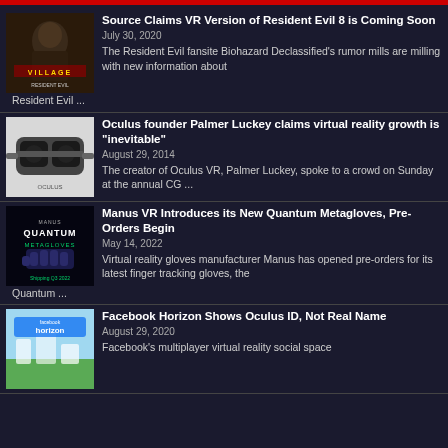Source Claims VR Version of Resident Evil 8 is Coming Soon | July 30, 2020 | The Resident Evil fansite Biohazard Declassified's rumor mills are milling with new information about Resident Evil ...
Oculus founder Palmer Luckey claims virtual reality growth is "inevitable" | August 29, 2014 | The creator of Oculus VR, Palmer Luckey, spoke to a crowd on Sunday at the annual CG ...
Manus VR Introduces its New Quantum Metagloves, Pre-Orders Begin | May 14, 2022 | Virtual reality gloves manufacturer Manus has opened pre-orders for its latest finger tracking gloves, the Quantum ...
Facebook Horizon Shows Oculus ID, Not Real Name | August 29, 2020 | Facebook's multiplayer virtual reality social space